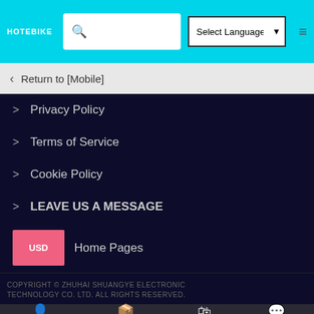HOTEBIKE | Select Language | Search
Return to [Mobile]
> Privacy Policy
> Terms of Service
> Cookie Policy
> LEAVE US A MESSAGE
USD Home Pages
COPYRIGHT © ZHUHAI SHUANGYE ELECTRONIC TECHNOLOGY CO. LTD. ALL RIGHTS RESERVED.
Account | Navigation | Cart | Online